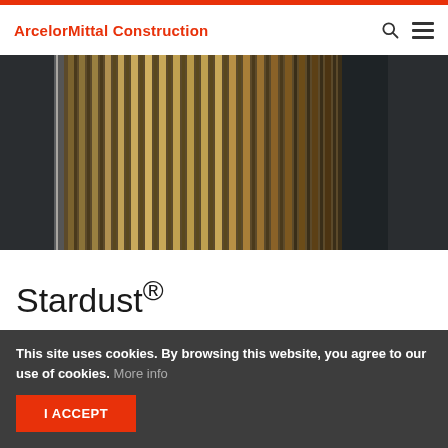ArcelorMittal Construction
[Figure (photo): Close-up photo of Stardust corrugated/ribbed metallic steel panels with golden-bronze and dark tones, architectural cladding product]
Stardust®
Stardust® is a pre-painted galvanized steel coated with a
This site uses cookies. By browsing this website, you agree to our use of cookies. More info